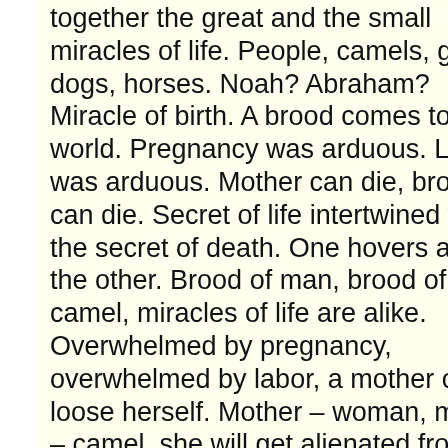together the great and the small miracles of life. People, camels, goats, dogs, horses. Noah? Abraham? Miracle of birth. A brood comes to the world. Pregnancy was arduous. Labor was arduous. Mother can die, brood can die. Secret of life intertwined with the secret of death. One hovers about the other. Brood of man, brood of camel, miracles of life are alike. Overwhelmed by pregnancy, overwhelmed by labor, a mother can loose herself. Mother – woman, mother – camel, she will get alienated from her brood. Who's this small nothing who's coming to suck me? Get away, what do you want from me? Who are you? Estrangement. Nature has
Fri 28 Nov
8 Wo
Fri 14 Nov
Nine Qu
Sat 1 Nov
Docume
fe
Fri 17 Oct
D
Interve
Fri 3 Oct
Talk T
Fri 19 Sep
Italia
Begi
Fri 4 Apr
No Mans
Fri 21 Mar
Sex and
(Lucia Y El S
Fri 7 Mar
Divided W
Fri 7 Feb
The C
(Le Pla